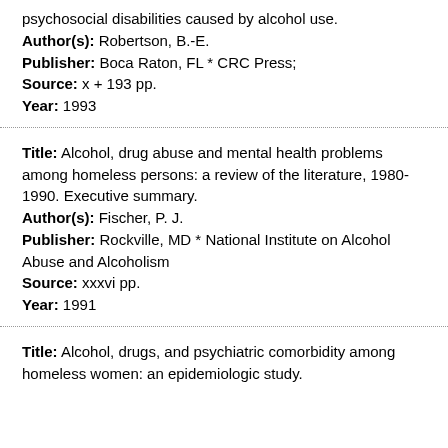psychosocial disabilities caused by alcohol use.
Author(s): Robertson, B.-E.
Publisher: Boca Raton, FL * CRC Press;
Source: x + 193 pp.
Year: 1993
Title: Alcohol, drug abuse and mental health problems among homeless persons: a review of the literature, 1980-1990. Executive summary.
Author(s): Fischer, P. J.
Publisher: Rockville, MD * National Institute on Alcohol Abuse and Alcoholism
Source: xxxvi pp.
Year: 1991
Title: Alcohol, drugs, and psychiatric comorbidity among homeless women: an epidemiologic study.